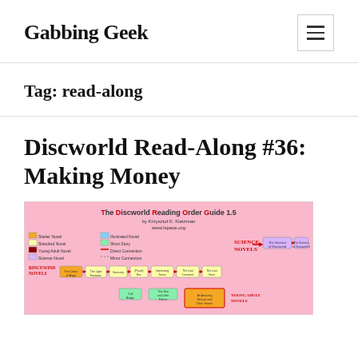Gabbing Geek
Tag: read-along
Discworld Read-Along #36: Making Money
[Figure (infographic): The Discworld Reading Order Guide 1.5 by Krzysztof K. Kietzman www.lspace.org — a flowchart showing the reading order of Discworld novels with colored boxes for different novel categories (Starter Novel, Standard Novel, Young Adult Novel, Science Novel, Illustrated Novel, Short Story) and arrows connecting them. Shows RINCEWIND NOVELS, SCIENCE NOVELS, YOUNG ADULT NOVELS series.]